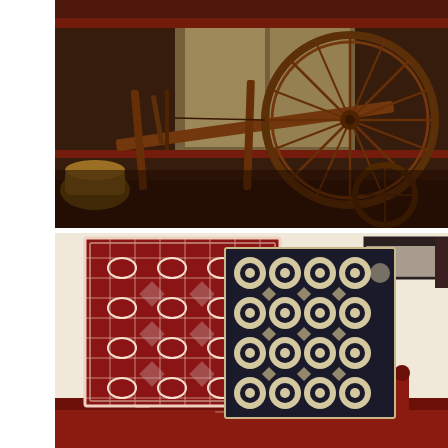[Figure (photo): A large antique wooden spinning wheel displayed on a wooden stand or frame inside a historic room with dark wood trim and a window in the background. A wicker basket is visible on the left side.]
[Figure (photo): Two woven textile coverlets or blankets hanging on a wall in a historic room. The left one is red and white with a geometric floral/medallion pattern; the right one is dark navy/black and cream with a circular dot/medallion pattern. A red antique bed frame and a dark wall-mounted shelf are visible.]